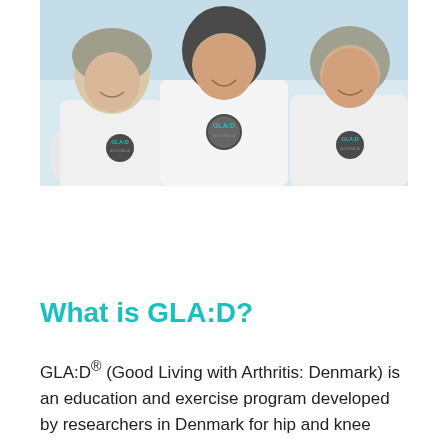[Figure (photo): Three women standing together wearing white GLA:D Australia t-shirts and smiling, photographed indoors with a light background.]
What is GLA:D?
GLA:D® (Good Living with Arthritis: Denmark) is an education and exercise program developed by researchers in Denmark for hip and knee